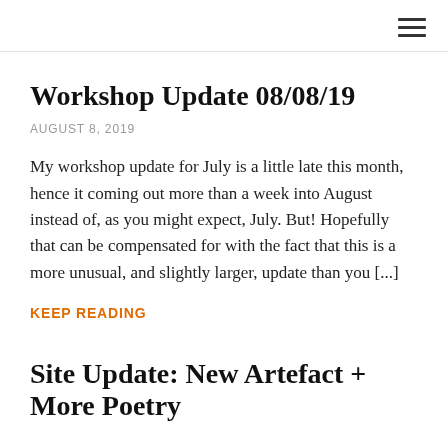≡
Workshop Update 08/08/19
AUGUST 8, 2019
My workshop update for July is a little late this month, hence it coming out more than a week into August instead of, as you might expect, July. But! Hopefully that can be compensated for with the fact that this is a more unusual, and slightly larger, update than you [...]
KEEP READING
Site Update: New Artefact + More Poetry